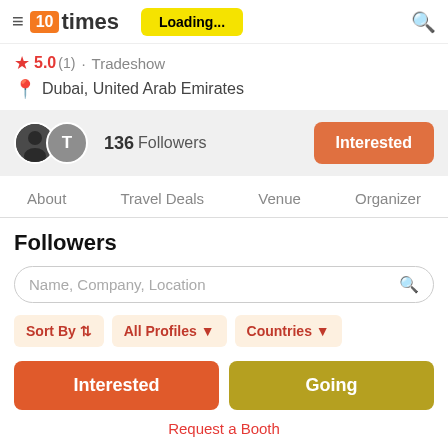10times — Loading...
5.0 (1) · Tradeshow
Dubai, United Arab Emirates
136 Followers — Interested
About
Travel Deals
Venue
Organizer
Followers
Name, Company, Location
Sort By ↕  All Profiles ▾  Countries ▾
Interested  Going  Request a Booth